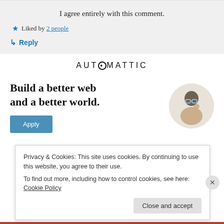I agree entirely with this comment.
★ Liked by 2 people
↳ Reply
[Figure (logo): AUTOMATTIC logo in uppercase spaced lettering with a circular O]
Build a better web and a better world.
Apply
Privacy & Cookies: This site uses cookies. By continuing to use this website, you agree to their use.
To find out more, including how to control cookies, see here: Cookie Policy
Close and accept